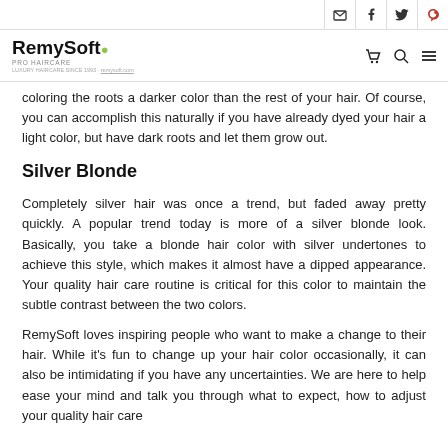RemySoft Pro Haircare — social/nav header
coloring the roots a darker color than the rest of your hair. Of course, you can accomplish this naturally if you have already dyed your hair a light color, but have dark roots and let them grow out.
Silver Blonde
Completely silver hair was once a trend, but faded away pretty quickly. A popular trend today is more of a silver blonde look. Basically, you take a blonde hair color with silver undertones to achieve this style, which makes it almost have a dipped appearance. Your quality hair care routine is critical for this color to maintain the subtle contrast between the two colors.
RemySoft loves inspiring people who want to make a change to their hair. While it's fun to change up your hair color occasionally, it can also be intimidating if you have any uncertainties. We are here to help ease your mind and talk you through what to expect, how to adjust your quality hair care